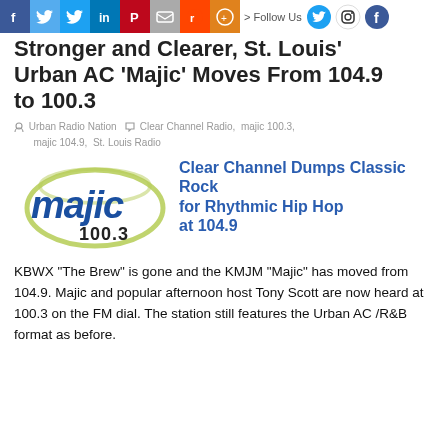> Follow Us
Stronger and Clearer, St. Louis' Urban AC 'Majic' Moves From 104.9 to 100.3
Urban Radio Nation   Clear Channel Radio, majic 100.3, majic 104.9, St. Louis Radio
[Figure (logo): Majic 100.3 logo with green swoosh oval around blue bold 'majic' text and '100.3' below]
Clear Channel Dumps Classic Rock for Rhythmic Hip Hop at 104.9
KBWX "The Brew" is gone and the KMJM "Majic" has moved from 104.9. Majic and popular afternoon host Tony Scott are now heard at 100.3 on the FM dial. The station still features the Urban AC /R&B format as before.